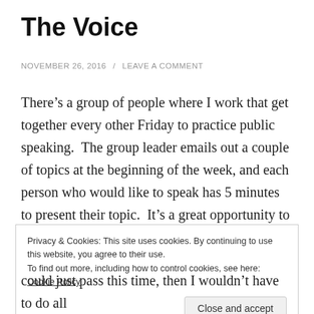The Voice
NOVEMBER 26, 2016 / LEAVE A COMMENT
There’s a group of people where I work that get together every other Friday to practice public speaking.  The group leader emails out a couple of topics at the beginning of the week, and each person who would like to speak has 5 minutes to present their topic.  It’s a great opportunity to regularly practice speaking in front of a group.
Privacy & Cookies: This site uses cookies. By continuing to use this website, you agree to their use.
To find out more, including how to control cookies, see here: Cookie Policy
Close and accept
could just pass this time, then I wouldn’t have to do all